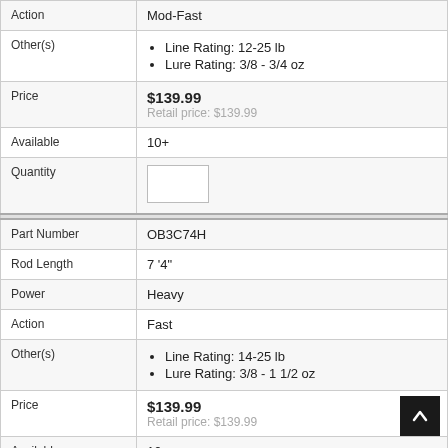| Field | Value |
| --- | --- |
| Action | Mod-Fast |
| Other(s) | Line Rating: 12-25 lb
Lure Rating: 3/8 - 3/4 oz |
| Price | $139.99
Retail price: $139.99 |
| Available | 10+ |
| Quantity |  |
| Part Number | OB3C74H |
| Rod Length | 7 '4" |
| Power | Heavy |
| Action | Fast |
| Other(s) | Line Rating: 14-25 lb
Lure Rating: 3/8 - 1 1/2 oz |
| Price | $139.99
Retail price: $139.99 |
| Available | 10+ |
| Quantity |  |